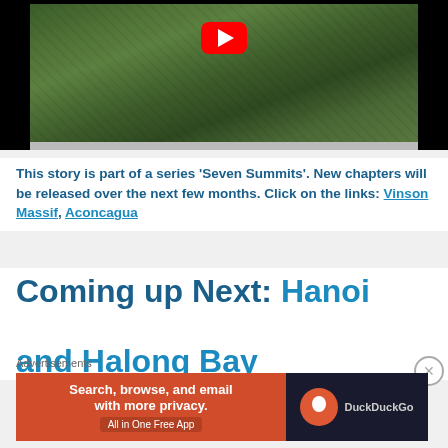[Figure (screenshot): YouTube video thumbnail showing tropical plants/ferns in a dense forest, with YouTube play button visible at top center]
This story is part of a series ‘Seven Summits’. New chapters will be released over the next few months. Click on the links: Vinson Massif, Aconcagua
Coming up Next: Hanoi and Halong Bay
Advertisements
[Figure (screenshot): DuckDuckGo advertisement banner: orange left panel reading 'Search, browse, and email with more privacy. All in One Free App' and dark right panel with DuckDuckGo logo]